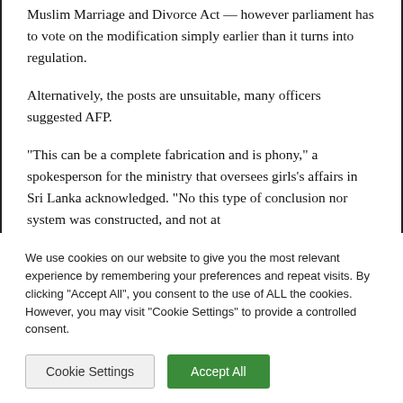Muslim Marriage and Divorce Act — however parliament has to vote on the modification simply earlier than it turns into regulation.
Alternatively, the posts are unsuitable, many officers suggested AFP.
“This can be a complete fabrication and is phony,” a spokesperson for the ministry that oversees girls’s affairs in Sri Lanka acknowledged. “No this type of conclusion nor system was constructed, and not at
We use cookies on our website to give you the most relevant experience by remembering your preferences and repeat visits. By clicking “Accept All”, you consent to the use of ALL the cookies. However, you may visit "Cookie Settings" to provide a controlled consent.